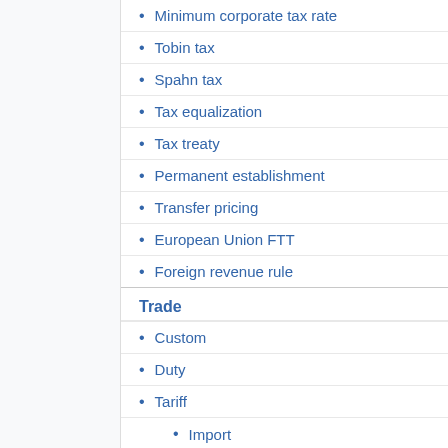Minimum corporate tax rate
Tobin tax
Spahn tax
Tax equalization
Tax treaty
Permanent establishment
Transfer pricing
European Union FTT
Foreign revenue rule
Trade
Custom
Duty
Tariff
Import
Export
Tariff war